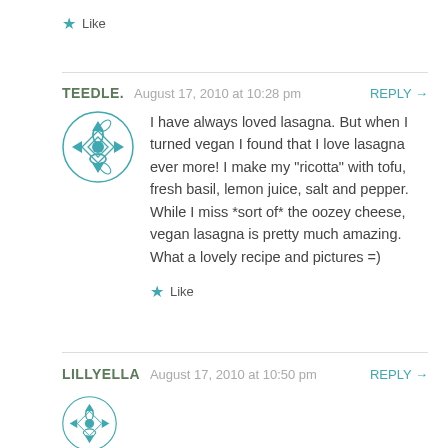Like
TEEDLE.  August 17, 2010 at 10:28 pm  REPLY →
I have always loved lasagna. But when I turned vegan I found that I love lasagna ever more! I make my "ricotta" with tofu, fresh basil, lemon juice, salt and pepper. While I miss *sort of* the oozey cheese, vegan lasagna is pretty much amazing.
What a lovely recipe and pictures =)
Like
LILLYELLA  August 17, 2010 at 10:50 pm  REPLY →